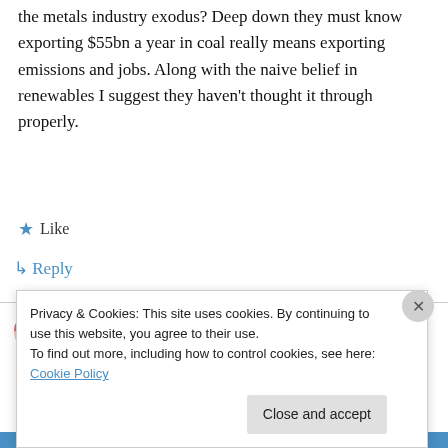the metals industry exodus? Deep down they must know exporting $55bn a year in coal really means exporting emissions and jobs. Along with the naive belief in renewables I suggest they haven't thought it through properly.
★ Like
↳ Reply
Peter Lang on 24 February 2012 at 10:14 AM
(Deleted repetitious tirade)
Privacy & Cookies: This site uses cookies. By continuing to use this website, you agree to their use.
To find out more, including how to control cookies, see here: Cookie Policy
Close and accept